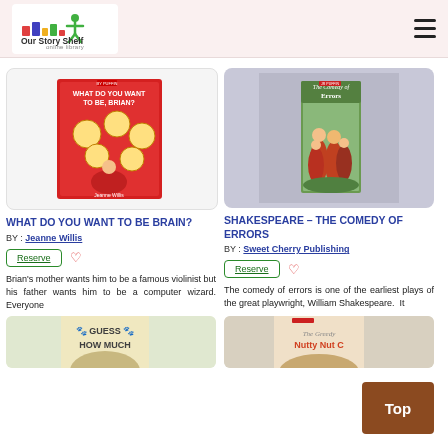Our Story Shelf
[Figure (photo): Book cover: What Do You Want to Be Brain? - red cover with illustrated circles]
WHAT DO YOU WANT TO BE BRAIN?
BY : Jeanne Willis
Reserve
Brian's mother wants him to be a famous violinist but his father wants him to be a computer wizard. Everyone
[Figure (photo): Book cover: Shakespeare - The Comedy of Errors - illustrated children in red]
SHAKESPEARE - THE COMEDY OF ERRORS
BY : Sweet Cherry Publishing
Reserve
The comedy of errors is one of the earliest plays of the great playwright, William Shakespeare. It
[Figure (photo): Partial book cover: Guess How Much - bottom of page]
[Figure (photo): Partial book cover: The Nutty Nut - bottom of page]